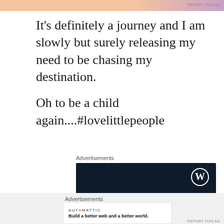[Figure (other): Top advertisement banner strip with gradient orange/purple colors and 'REPORT THIS AD' label]
It’s definitely a journey and I am slowly but surely releasing my need to be chasing my destination.
Oh to be a child again....#lovelittlepeople
Advertisements
[Figure (other): WordPress advertisement on dark navy background with WordPress logo (W in circle), text 'Opinions.' and 'We all have them!']
Advertisements
[Figure (other): Automattic advertisement strip with logo text 'AUTOMATTIC' and tagline 'Build a better web and a better world.']